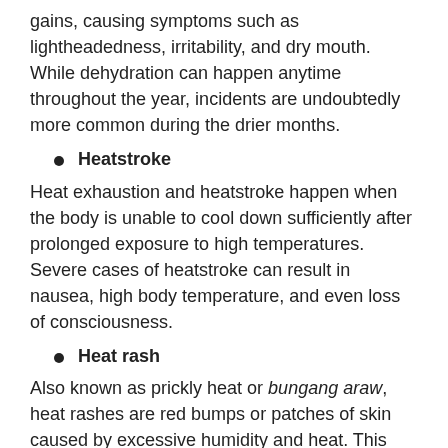gains, causing symptoms such as lightheadedness, irritability, and dry mouth. While dehydration can happen anytime throughout the year, incidents are undoubtedly more common during the drier months.
Heatstroke
Heat exhaustion and heatstroke happen when the body is unable to cool down sufficiently after prolonged exposure to high temperatures. Severe cases of heatstroke can result in nausea, high body temperature, and even loss of consciousness.
Heat rash
Also known as prickly heat or bungang araw, heat rashes are red bumps or patches of skin caused by excessive humidity and heat. This may also be caused by the clogging of sweat glands in the affected area.
Allergies
The heat and other factors such as dust and pollen may